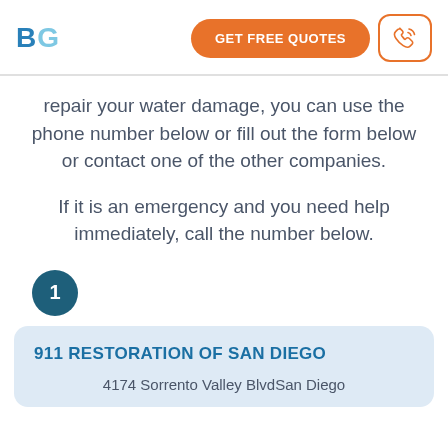BG | GET FREE QUOTES
repair your water damage, you can use the phone number below or fill out the form below or contact one of the other companies.
If it is an emergency and you need help immediately, call the number below.
1
911 RESTORATION OF SAN DIEGO
4174 Sorrento Valley BlvdSan Diego